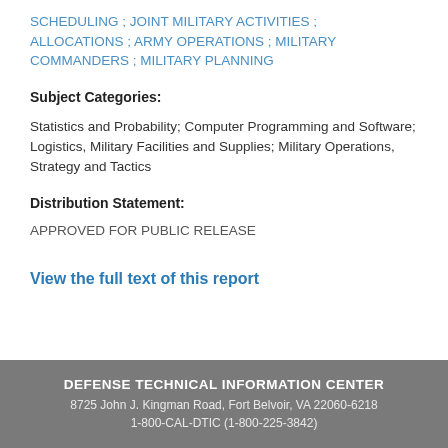SCHEDULING ; JOINT MILITARY ACTIVITIES ; ALLOCATIONS ; ARMY OPERATIONS ; MILITARY COMMANDERS ; MILITARY PLANNING
Subject Categories:
Statistics and Probability; Computer Programming and Software; Logistics, Military Facilities and Supplies; Military Operations, Strategy and Tactics
Distribution Statement:
APPROVED FOR PUBLIC RELEASE
View the full text of this report
DEFENSE TECHNICAL INFORMATION CENTER
8725 John J. Kingman Road, Fort Belvoir, VA 22060-6218
1-800-CAL-DTIC (1-800-225-3842)